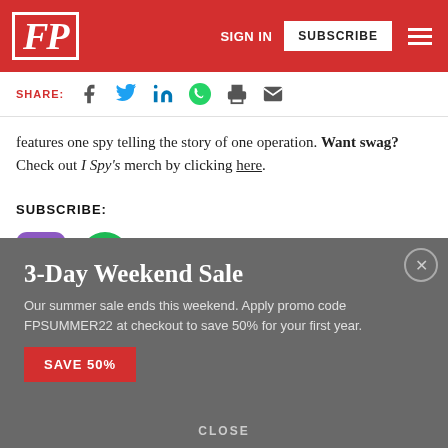FP — SIGN IN | SUBSCRIBE
SHARE:
features one spy telling the story of one operation. Want swag? Check out I Spy's merch by clicking here.
SUBSCRIBE:
[Figure (infographic): Podcast subscription icons: Apple Podcasts, Spotify, Google Podcasts]
3-Day Weekend Sale
Our summer sale ends this weekend. Apply promo code FPSUMMER22 at checkout to save 50% for your first year.
SAVE 50%
CLOSE